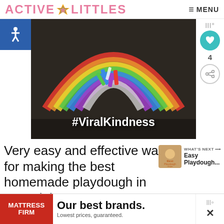ACTIVE LITTLES  ≡ MENU
[Figure (photo): Chalk rainbow drawing on dark asphalt with chalk sticks, text overlay #ViralKindness]
Very easy and effective way for making the best homemade playdough in my opinion.
WHAT'S NEXT → Easy Playdough...
Di                                    bo
[Figure (infographic): Advertisement banner: Mattress Firm - Our best brands. Lowest prices, guaranteed.]